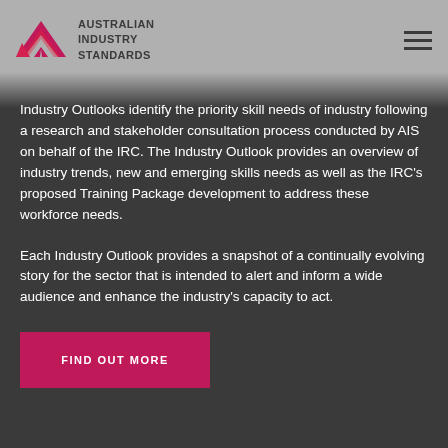[Figure (logo): Australian Industry Standards logo with red/pink chevron arrow icon and bold text reading AUSTRALIAN INDUSTRY STANDARDS]
Industry Outlooks identify the priority skill needs of industry following a research and stakeholder consultation process conducted by AIS on behalf of the IRC. The Industry Outlook provides an overview of industry trends, new and emerging skills needs as well as the IRC's proposed Training Package development to address these workforce needs.
Each Industry Outlook provides a snapshot of a continually evolving story for the sector that is intended to alert and inform a wide audience and enhance the industry's capacity to act.
FIND OUT MORE